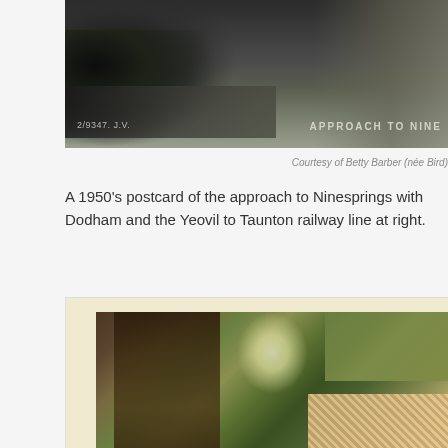[Figure (photo): Black and white photograph showing an aerial/landscape view of the approach to Ninesprings with water and trees visible. Text overlay reads '2/9347. J.V.' at lower left and 'APPROACH TO NINE' at lower right.]
Courtesy of Betty Barber (née Bird)
A 1950's postcard of the approach to Ninesprings with Dodham and the Yeovil to Taunton railway line at right.
[Figure (photo): Colour postcard showing a woodland scene at Ninesprings with a large tree trunk, lush green foliage, dappled light, and a decorative gate or fence visible at lower right.]